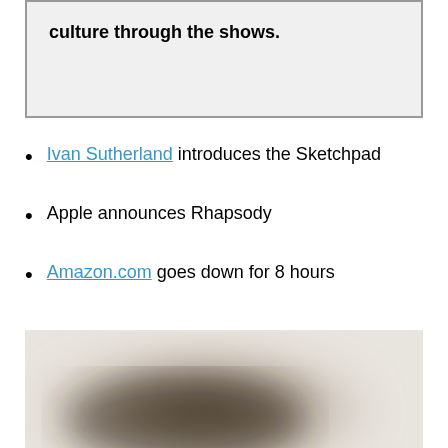culture through the shows.
Ivan Sutherland introduces the Sketchpad
Apple announces Rhapsody
Amazon.com goes down for 8 hours
[Figure (photo): A blurred/obscured image, appears to be a dark object on a light background, heavily blurred]